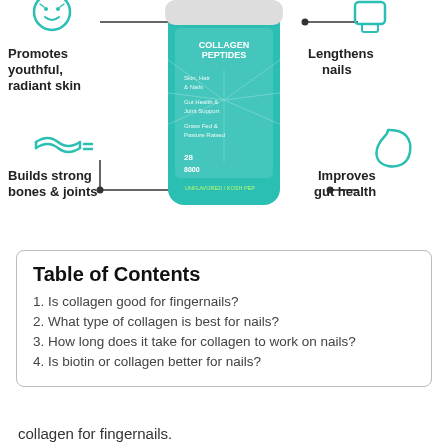[Figure (infographic): Collagen peptides product container in teal color with four benefit callouts connected by lines: top-left 'Promotes youthful, radiant skin' with face icon, top-right 'Lengthens nails' with nail icon, bottom-left 'Builds strong bones & joints' with joint icon, bottom-right 'Improves gut health' with stomach icon.]
Table of Contents
1. Is collagen good for fingernails?
2. What type of collagen is best for nails?
3. How long does it take for collagen to work on nails?
4. Is biotin or collagen better for nails?
collagen for fingernails.